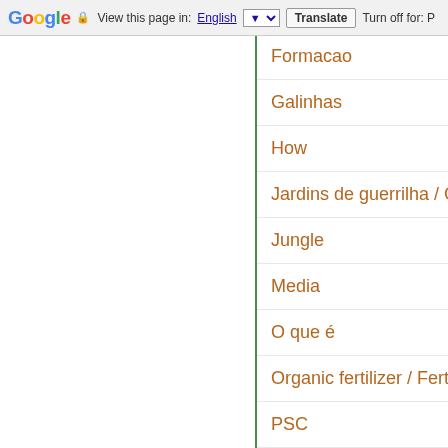Google  View this page in: English  Translate  Turn off for: P
Formacao
Galinhas
How
Jardins de guerrilha / Guerrilla
Jungle
Media
O que é
Organic fertilizer / Fertilizante
PSC
PTC
Penny Livingstone
Permacultura Brasil